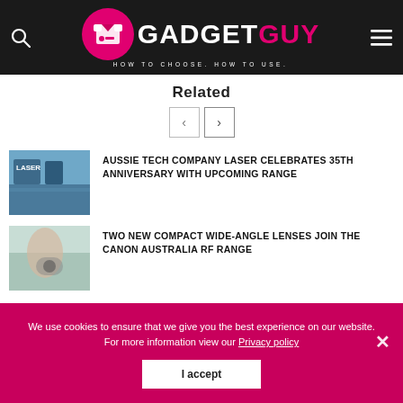[Figure (logo): GadgetGuy logo with icon, white GADGET and pink GUY text, tagline HOW TO CHOOSE. HOW TO USE.]
Related
[Figure (screenshot): Navigation previous and next arrow buttons]
[Figure (photo): Thumbnail image for Laser tech article - blue toned outdoor/harbour scene]
AUSSIE TECH COMPANY LASER CELEBRATES 35TH ANNIVERSARY WITH UPCOMING RANGE
[Figure (photo): Thumbnail image for Canon article - woman with camera outdoors]
TWO NEW COMPACT WIDE-ANGLE LENSES JOIN THE CANON AUSTRALIA RF RANGE
We use cookies to ensure that we give you the best experience on our website. For more information view our Privacy policy
I accept